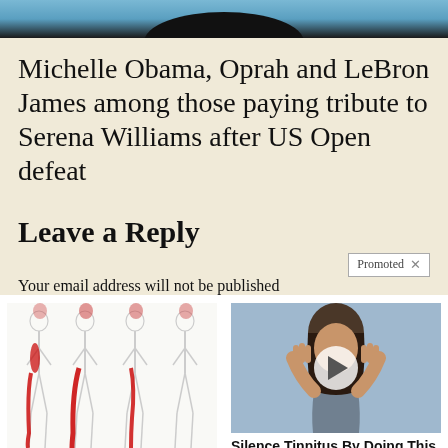[Figure (photo): Top portion of a person with dark hair against a sky blue background, cropped at top of page]
Michelle Obama, Oprah and LeBron James among those paying tribute to Serena Williams after US Open defeat
Leave a Reply
You email address will not be published (truncated/partially visible)
[Figure (illustration): Medical illustration showing four human body outlines with red highlighted areas indicating sciatic nerve pain pathways along legs and hips]
Are You Struggling With Sciatic Nerve Pain?
🔥 7,064
[Figure (photo): Woman pulling ears with fingers over her eyes, video play button overlay, blue-grey background]
Silence Tinnitus By Doing This Immediately!
🔥 426